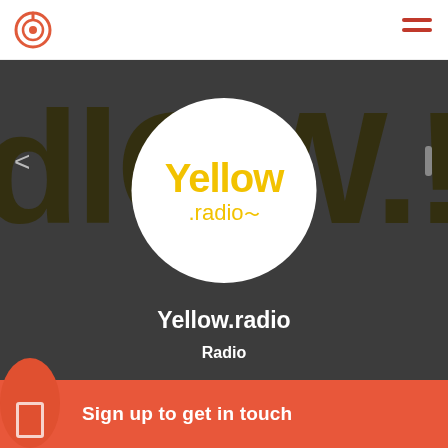[Figure (screenshot): Yellow.radio station profile page showing the Yellow.radio logo (yellow text on white circle) over a dark background with large stylized text. Shows station name Yellow.radio and category Radio. Navigation arrow on left, page indicator on right.]
Yellow.radio
Radio
Sign up to get in touch